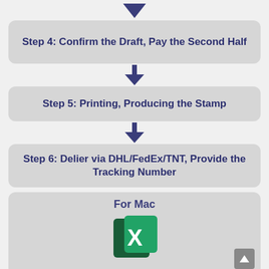[Figure (flowchart): Flowchart showing Step 4: Confirm the Draft, Pay the Second Half; Step 5: Printing, Producing the Stamp; Step 6: Delier via DHL/FedEx/TNT, Provide the Tracking Number; followed by a For Mac section with Excel icon]
Step 4: Confirm the Draft, Pay the Second Half
Step 5: Printing, Producing the Stamp
Step 6: Delier via DHL/FedEx/TNT, Provide the Tracking Number
For Mac